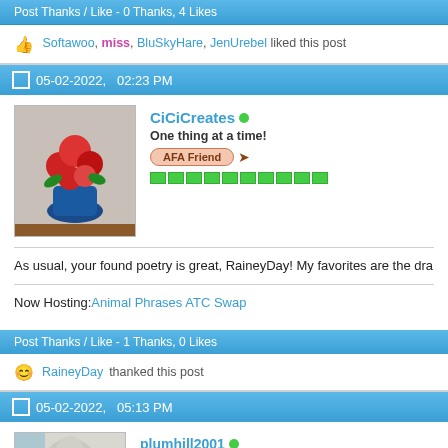Post Thanks / Like - 0 Thanks, 4 Likes
Softawoo, miss, BluSkyHare, JenUrebel liked this post
05-02-2022,   02:23 PM
CiCiCreates
One thing at a time!
AFA Friend
As usual, your found poetry is great, RaineyDay! My favorites are the dra
Now Hosting: Animal Phrases ATC Swap
Post Thanks / Like - 1 Thanks, 0 Likes
RaineyDay thanked this post
05-02-2022,   05:13 PM
plumhill2001
art from my trailer in the woods